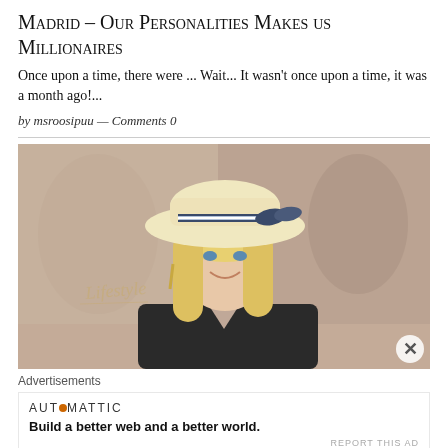Madrid – Our Personalities Makes us Millionaires
Once upon a time, there were ... Wait... It wasn't once upon a time, it was a month ago!...
by msroosipuu — Comments 0
[Figure (photo): A smiling blonde woman wearing a wide-brimmed cream hat with a navy striped bow, dressed in a dark quilted vest, photographed outdoors on a city street. A watermark/logo is visible on the left side of the image.]
Advertisements
AUTOMATTIC
Build a better web and a better world.